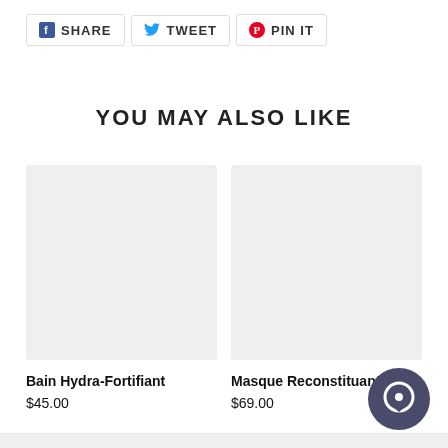[Figure (other): Social share bar with Facebook Share, Twitter Tweet, and Pinterest Pin It buttons]
YOU MAY ALSO LIKE
[Figure (photo): Product image placeholder for Bain Hydra-Fortifiant (light gray box)]
Bain Hydra-Fortifiant
$45.00
[Figure (photo): Product image placeholder for Masque Reconstituant (light gray box)]
Masque Reconstituant
$69.00
[Figure (other): Chat bubble icon (dark circular button, bottom right)]